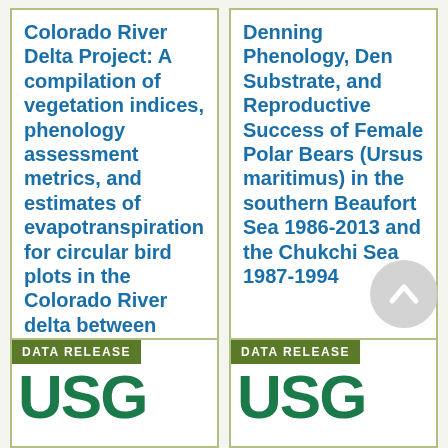Colorado River Delta Project: A compilation of vegetation indices, phenology assessment metrics, and estimates of evapotranspiration for circular bird plots in the Colorado River delta between 2000-2020 (ver. 1.0)
Denning Phenology, Den Substrate, and Reproductive Success of Female Polar Bears (Ursus maritimus) in the southern Beaufort Sea 1986-2013 and the Chukchi Sea 1987-1994
DATA RELEASE
DATA RELEASE